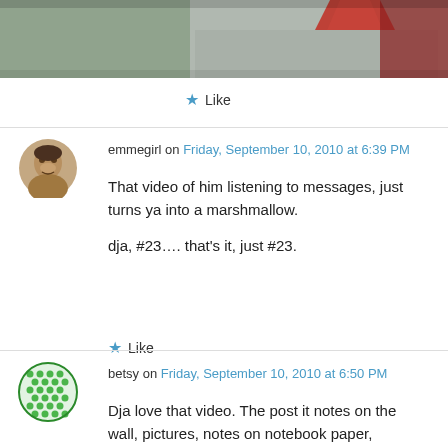[Figure (photo): Partial photo of a person wearing a grey sweater and red collared shirt, cropped at the top]
★ Like
emmegirl on Friday, September 10, 2010 at 6:39 PM

That video of him listening to messages, just turns ya into a marshmallow.

dja, #23.... that's it, just #23.

★ Like
betsy on Friday, September 10, 2010 at 6:50 PM

Dja love that video. The post it notes on the wall, pictures, notes on notebook paper, calenders.